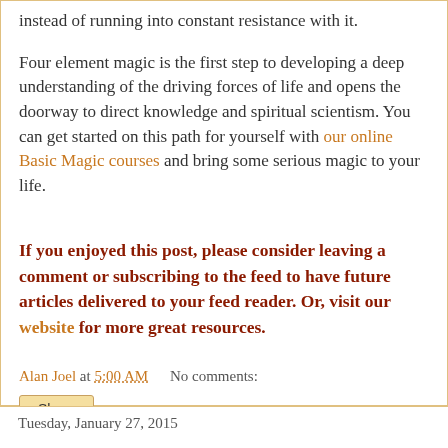instead of running into constant resistance with it.
Four element magic is the first step to developing a deep understanding of the driving forces of life and opens the doorway to direct knowledge and spiritual scientism. You can get started on this path for yourself with our online Basic Magic courses and bring some serious magic to your life.
If you enjoyed this post, please consider leaving a comment or subscribing to the feed to have future articles delivered to your feed reader. Or, visit our website for more great resources.
Alan Joel at 5:00 AM    No comments:
Share
Tuesday, January 27, 2015